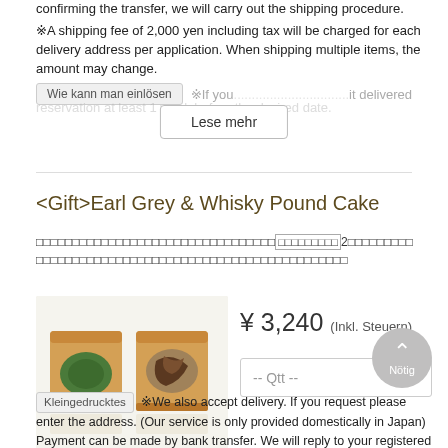confirming the transfer, we will carry out the shipping procedure.
※A shipping fee of 2,000 yen including tax will be charged for each delivery address per application. When shipping multiple items, the amount may change.
Wie kann man einlösen  ※If you... it delivered, please make a reservation at least 1 week before the desired date.
Lese mehr
<Gift>Earl Grey & Whisky Pound Cake
□□□□□□□□□□□□□□□□□□□□□□□□□□□□□□□□2□□□□□□□□□□□□□□□□□□□□□□□□□□□□□□□□□□□□□
[Figure (photo): Two slices of pound cake shown side by side — one with green filling and one with dark chocolate/swirl filling, on a white background with reflections]
¥ 3,240 (Inkl. Steuern)
-- Qtt --
Nötig
Kleingedrucktes ※We also accept delivery. If you request please enter the address. (Our service is only provided domestically in Japan) Payment can be made by bank transfer. We will reply to your registered e-mail address. After confirming the transfer, we will carry out the shipping procedure.
※A shipping fee of 1,500 yen including tax will be charged for each delivery address per application. When shipping multiple items, the amount may change